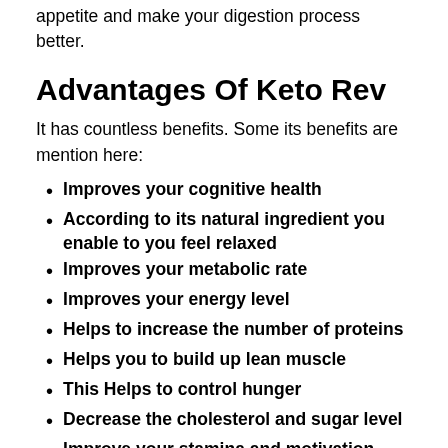appetite and make your digestion process better.
Advantages Of Keto Rev
It has countless benefits. Some its benefits are mention here:
Improves your cognitive health
According to its natural ingredient you enable to you feel relaxed
Improves your metabolic rate
Improves your energy level
Helps to increase the number of proteins
Helps you to build up lean muscle
This Helps to control hunger
Decrease the cholesterol and sugar level
Improve your stamina and motivation